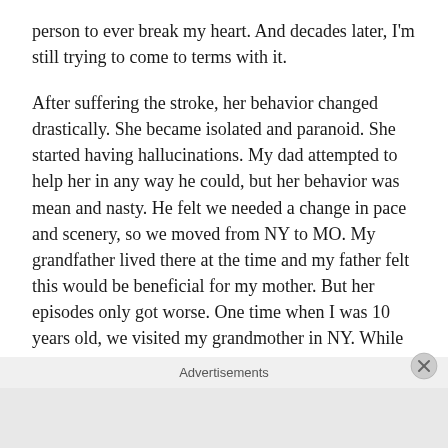person to ever break my heart. And decades later, I'm still trying to come to terms with it.
After suffering the stroke, her behavior changed drastically. She became isolated and paranoid. She started having hallucinations. My dad attempted to help her in any way he could, but her behavior was mean and nasty. He felt we needed a change in pace and scenery, so we moved from NY to MO. My grandfather lived there at the time and my father felt this would be beneficial for my mother. But her episodes only got worse. One time when I was 10 years old, we visited my grandmother in NY. While sleeping in bed with my mother, she woke me up in the middle of the night, hysterical. She accused me of trying to suffocate her in her sleep. She said she saw me on top of her with my hands around her neck. Needless to say,
whenever I got around her she shunned me. Called me all sort-
Advertisements